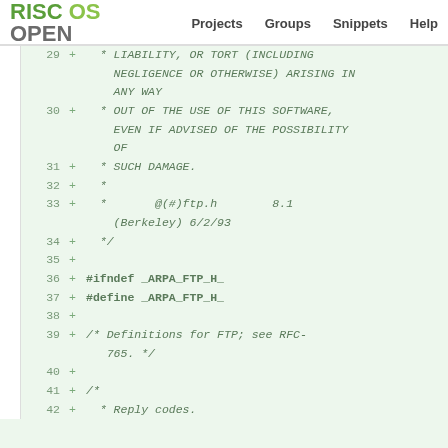RISC OS OPEN   Projects   Groups   Snippets   Help
[Figure (screenshot): Code diff view of a C header file (arpa/ftp.h) showing added lines 29-42 with BSD license text and FTP definitions, displayed on RISC OS Open website.]